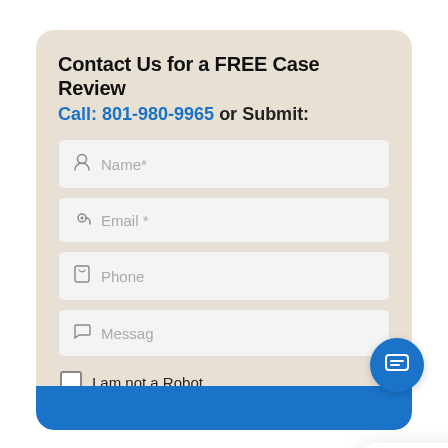Contact Us for a FREE Case Review
Call: 801-980-9965 or Submit:
Name*
Email *
Phone
Message
I am not a Robot
[Figure (screenshot): Chat popup with avatar of a woman and message: Hi there, have a question? Text us here privately. With a close button and a blue chat icon button.]